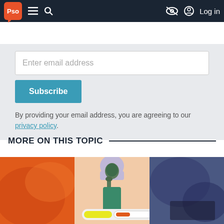Pso | Navigation bar with menu, search, accessibility and log in options
Enter email address
Subscribe
By providing your email address, you are agreeing to our privacy policy.
MORE ON THIS TOPIC
[Figure (illustration): Illustration strip with three panels: orange abstract background on left, center panel showing a woman in hijab and green outfit holding something to her mouth with a COVID test device overlay at bottom, and blue/purple abstract background on right.]